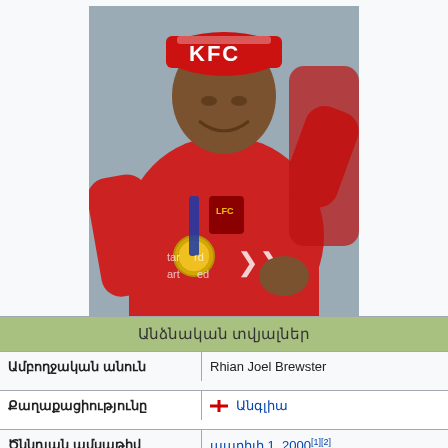[Figure (photo): Photo of Rhian Brewster wearing a red Liverpool FC kit with a gold medal on a blue ribbon, and a red KFC hat, celebrating a Champions League Final win.]
| Անձնական տվյալներ |
| --- |
| Ամբողջական անուն | Rhian Joel Brewster |
| Քաղաքացիությունը | 🏴󠁧󠁢󠁥󠁮󠁧󠁿 Անգլիա |
| Ծննդյան ամսաթիվ | ապրիլի 1, 2000[1][2]
(22 տարեկան) |